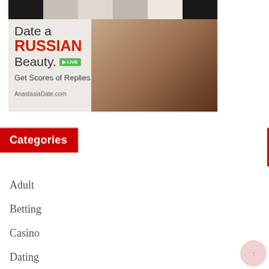[Figure (photo): Advertisement banner for AnastasiaDate.com showing a woman in a black dress with text 'Date a RUSSIAN Beauty. LIVE — Get Scores of Replies — AnastasiaDate.com']
Categories
Adult
Betting
Casino
Dating